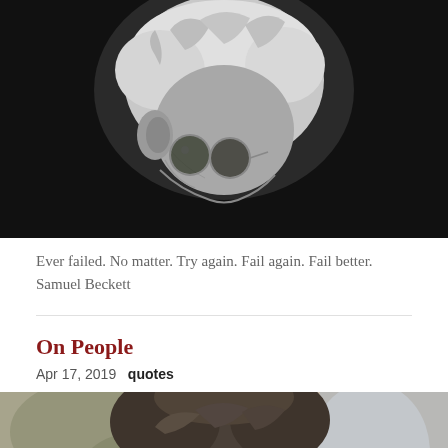[Figure (photo): Black and white close-up photo of an elderly person with white hair and round glasses, viewed from a side/back angle. Dark background.]
Ever failed. No matter. Try again. Fail again. Fail better. Samuel Beckett
On People
Apr 17, 2019   quotes
[Figure (photo): Color photo of a young man with dark wavy hair squinting slightly, blurred background with warm tones.]